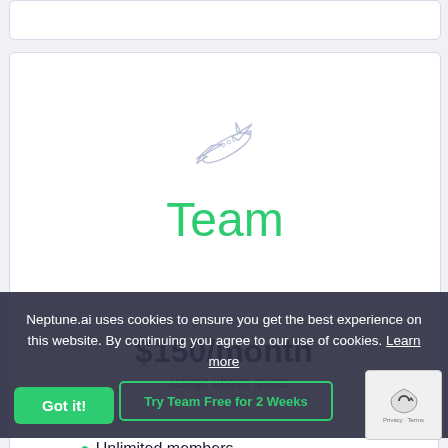[Figure (illustration): White card panel at top, partially visible]
[Figure (illustration): Airplane icon outline in light blue/lavender, above the word Team]
Team
$150/month
+ usage above quota
Neptune.ai uses cookies to ensure you get the best experience on this website. By continuing you agree to our use of cookies. Learn more
Got it!
Try Team Free for 2 Weeks
Unlimited members